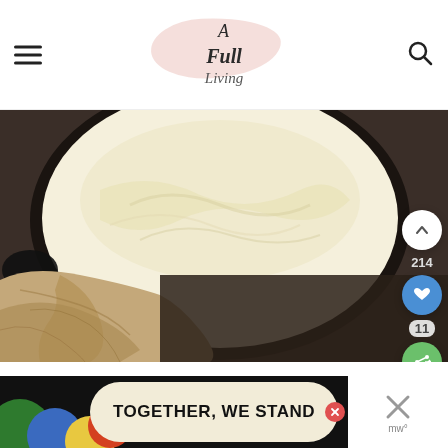A Full Living
[Figure (photo): Overhead view of a cast iron skillet with white mashed potatoes/frosting, with a tan linen cloth beneath it on a dark surface]
Pour in heavy cream in a slow stream and combine if the frosting is too thick for your
[Figure (other): Advertisement banner: colorful shapes on left, cream background with text TOGETHER, WE STAND, close button, and X on right]